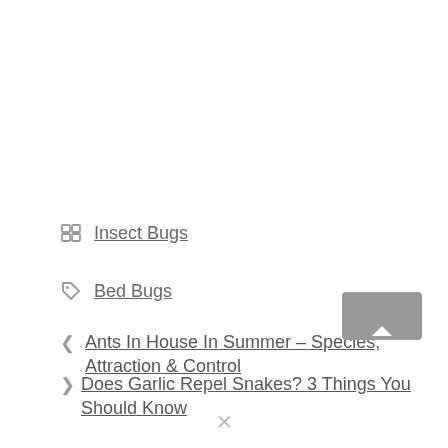Insect Bugs
Bed Bugs
Ants In House In Summer – Species, Attraction & Control
Does Garlic Repel Snakes? 3 Things You Should Know